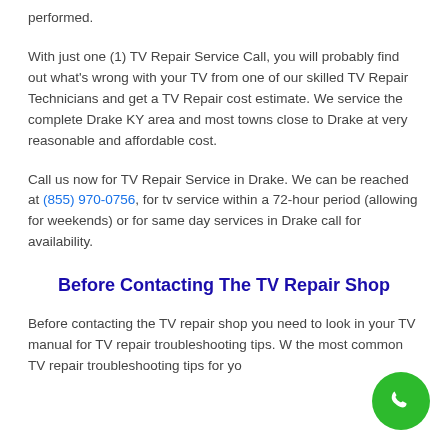performed.
With just one (1) TV Repair Service Call, you will probably find out what's wrong with your TV from one of our skilled TV Repair Technicians and get a TV Repair cost estimate. We service the complete Drake KY area and most towns close to Drake at very reasonable and affordable cost.
Call us now for TV Repair Service in Drake. We can be reached at (855) 970-0756, for tv service within a 72-hour period (allowing for weekends) or for same day services in Drake call for availability.
Before Contacting The TV Repair Shop
Before contacting the TV repair shop you need to look in your TV manual for TV repair troubleshooting tips. W… the most common TV repair troubleshooting tips for yo…